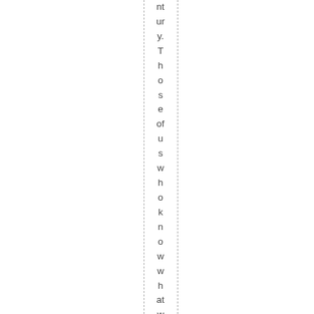ntury. Those of us who know what we're doing with